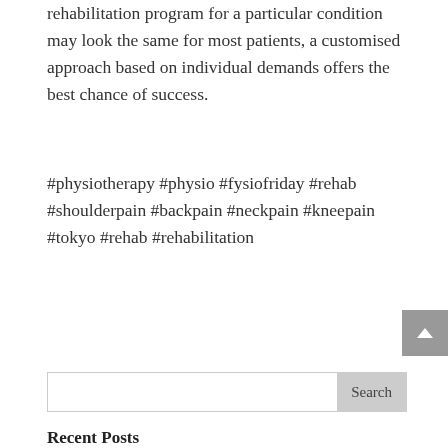rehabilitation program for a particular condition may look the same for most patients, a customised approach based on individual demands offers the best chance of success.
#physiotherapy #physio #fysiofriday #rehab #shoulderpain #backpain #neckpain #kneepain #tokyo #rehab #rehabilitation
Search
Recent Posts